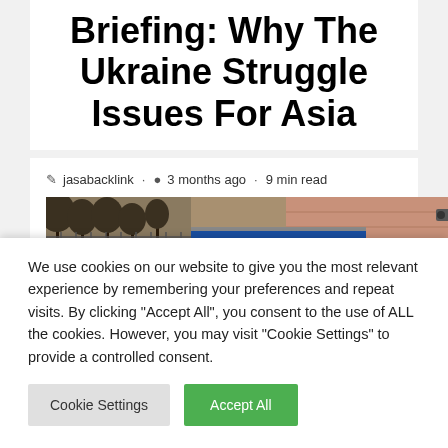Briefing: Why The Ukraine Struggle Issues For Asia
jasabacklink · 3 months ago · 9 min read
[Figure (photo): Outdoor street scene with trees, a blue billboard, and brick wall]
We use cookies on our website to give you the most relevant experience by remembering your preferences and repeat visits. By clicking "Accept All", you consent to the use of ALL the cookies. However, you may visit "Cookie Settings" to provide a controlled consent.